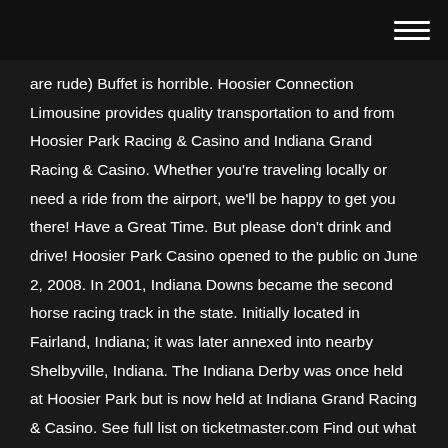are rude) Buffet is horrible. Hoosier Connection Limousine provides quality transportation to and from Hoosier Park Racing & Casino and Indiana Grand Racing & Casino. Whether you're traveling locally or need a ride from the airport, we'll be happy to get you there! Have a Great Time. But please don't drink and drive! Hoosier Park Casino opened to the public on June 2, 2008. In 2001, Indiana Downs became the second horse racing track in the state. Initially located in Fairland, Indiana; it was later annexed into nearby Shelbyville, Indiana. The Indiana Derby was once held at Hoosier Park but is now held at Indiana Grand Racing & Casino. See full list on ticketmaster.com Find out what works well at Hoosier Park Racing & Casino from the people who know best. Get the inside scoop on jobs,